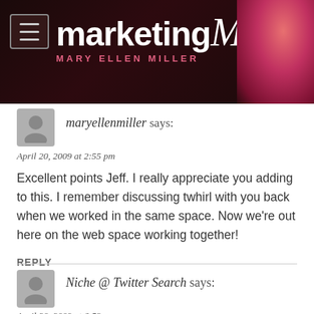[Figure (logo): Marketing Mel - Mary Ellen Miller website header with dark red/maroon background, hamburger menu icon on left, large white 'marketingMel' logo text in center, and a photo of a woman with glasses on the right]
maryellenmiller says:
April 20, 2009 at 2:55 pm
Excellent points Jeff. I really appreciate you adding to this. I remember discussing twhirl with you back when we worked in the same space. Now we're out here on the web space working together!
REPLY
Niche @ Twitter Search says:
April 20, 2009 at 6:53 pm
Interesting post. I find that twitter for me is more useful for